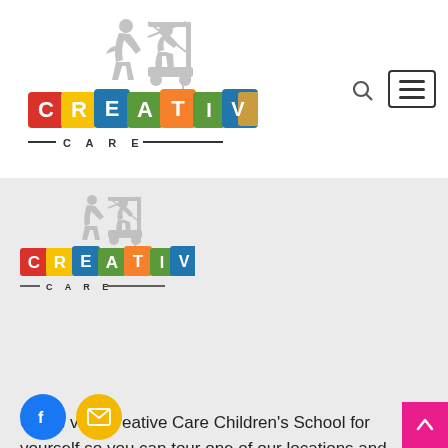[Figure (logo): Creative Care Children's School logo — colorful alphabet building blocks spelling CREATIVE with two children silhouettes and a toy crane above, text '— C A R E —' below]
[Figure (logo): Creative Care Children's School logo (smaller version) — same colorful blocks and children silhouette design with toy crane, text '— C A R E —' below]
Come visit Creative Care Children's School for yourself so you can tour one of our locations and meet some of our educators.
[Figure (illustration): Facebook icon (white 'f' on blue circle) and email envelope icon (white envelope on yellow/gold circle) social media buttons]